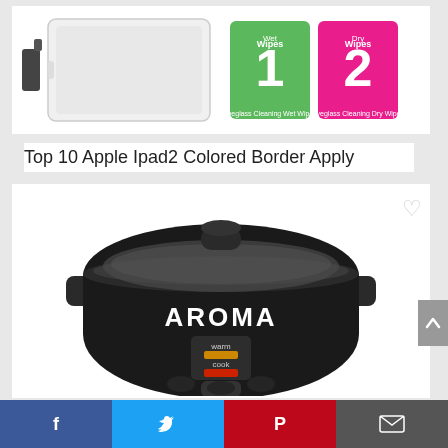[Figure (photo): iPad 2 with colored border digitizer and two cleaning wipe packets labeled 1 (green) and 2 (pink)]
Top 10 Apple Ipad2 Colored Border Apply
[Figure (photo): Black Aroma brand rice cooker with glass lid, handles, warm and cook indicator lights, and steam vent]
The Best Aroma Rice Cooker Steam Vent
Facebook | Twitter | Pinterest | Email social share bar